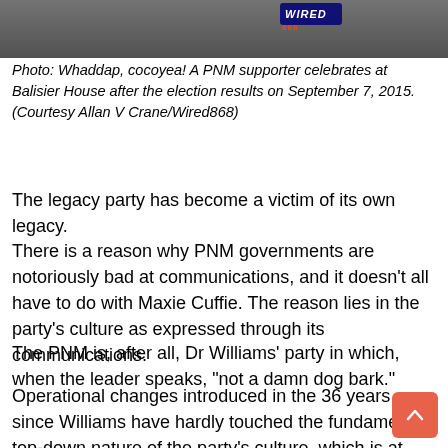[Figure (photo): Photo of a PNM supporter celebrating at Balisier House after election results, with WIRED868 logo in top right corner]
Photo: Whaddap, cocoyea! A PNM supporter celebrates at Balisier House after the election results on September 7, 2015.
(Courtesy Allan V Crane/Wired868)
The legacy party has become a victim of its own legacy.
There is a reason why PNM governments are notoriously bad at communications, and it doesn’t all have to do with Maxie Cuffie. The reason lies in the party’s culture as expressed through its communications.
The PNM is, after all, Dr Williams’ party in which, when the leader speaks, “not a damn dog bark.”
Operational changes introduced in the 36 years since Williams have hardly touched the fundamental top-down nature of the party’s culture, which is at sharp odds with today’s flattened, inter-connected, multi-directional